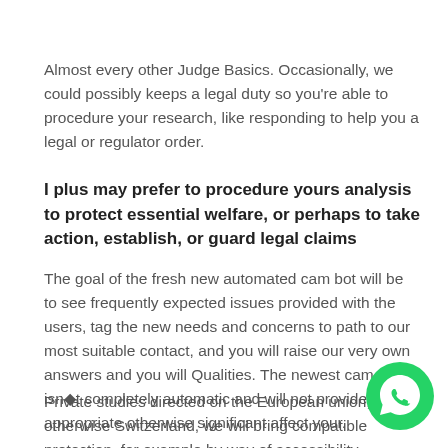Almost every other Judge Basics. Occasionally, we could possibly keeps a legal duty so you’re able to procedure your research, like responding to help you a legal or regulator order.
I plus may prefer to procedure yours analysis to protect essential welfare, or perhaps to take action, establish, or guard legal claims
The goal of the fresh new automated cam bot will be to see frequently expected issues provided with the users, tag the new needs and concerns to path to our most suitable contact, and you will raise our very own answers and you will Qualities. The newest cam robot isn�t completely automatic and will not provides an appropriate otherwise significant affect your.
Private studies directed on the European union, the otherwise Switzerland, we will bring compatible protection, for example by way of accessibility
[Figure (logo): WhatsApp circular green button icon]